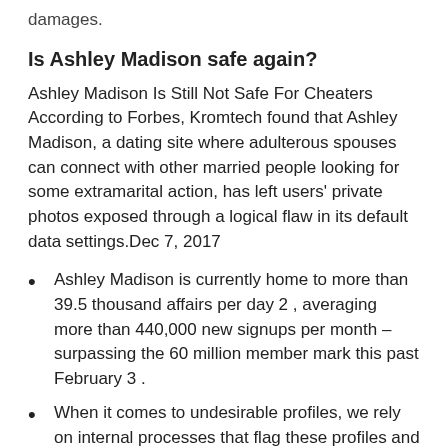damages.
Is Ashley Madison safe again?
Ashley Madison Is Still Not Safe For Cheaters According to Forbes, Kromtech found that Ashley Madison, a dating site where adulterous spouses can connect with other married people looking for some extramarital action, has left users' private photos exposed through a logical flaw in its default data settings.Dec 7, 2017
Ashley Madison is currently home to more than 39.5 thousand affairs per day 2 , averaging more than 440,000 new signups per month – surpassing the 60 million member mark this past February 3 .
When it comes to undesirable profiles, we rely on internal processes that flag these profiles and